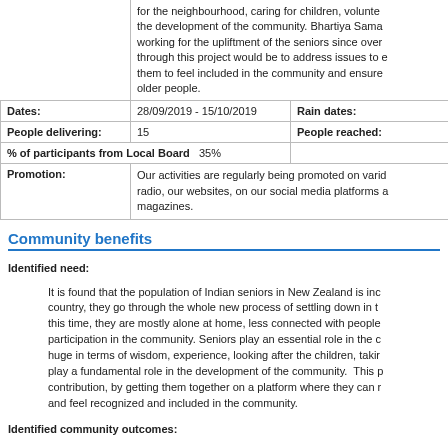|  |  |  |
| --- | --- | --- |
|  | for the neighbourhood, caring for children, volunteering for the development of the community. Bhartiya Sama working for the upliftment of the seniors since over through this project would be to address issues to them to feel included in the community and ensure older people. |  |
| Dates: | 28/09/2019 - 15/10/2019 | Rain dates: |
| People delivering: | 15 | People reached: |
| % of participants from Local Board | 35% |  |
| Promotion: | Our activities are regularly being promoted on various radio, our websites, on our social media platforms and magazines. |  |
Community benefits
Identified need:
It is found that the population of Indian seniors in New Zealand is increasing. When they come to a new country, they go through the whole new process of settling down in the new country. During this time, they are mostly alone at home, less connected with people and have minimum participation in the community. Seniors play an essential role in the community. Their contribution is huge in terms of wisdom, experience, looking after the children, taking care of people. They play a fundamental role in the development of the community. This project aims to celebrate their contribution, by getting them together on a platform where they can meet people like them and feel recognized and included in the community.
Identified community outcomes:
The community outcomes of the project are as follows:
* Celebrate the contribution of the seniors in the community
* Social inclusion and improve confidence
* Building connected and strong communities